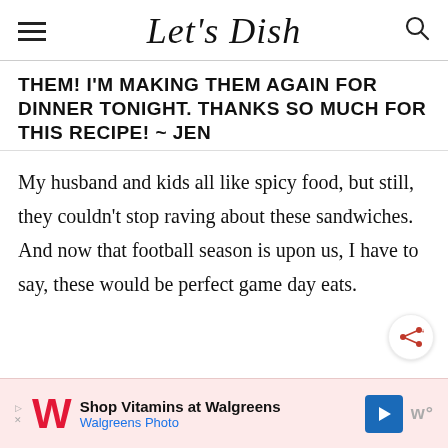Let's Dish
THEM! I'M MAKING THEM AGAIN FOR DINNER TONIGHT. THANKS SO MUCH FOR THIS RECIPE! ~ JEN
My husband and kids all like spicy food, but still, they couldn't stop raving about these sandwiches. And now that football season is upon us, I have to say, these would be perfect game day eats.
[Figure (other): Share button icon (circular button with share symbol)]
[Figure (other): Advertisement banner: Shop Vitamins at Walgreens - Walgreens Photo with Walgreens W logo and blue navigation arrow icon]